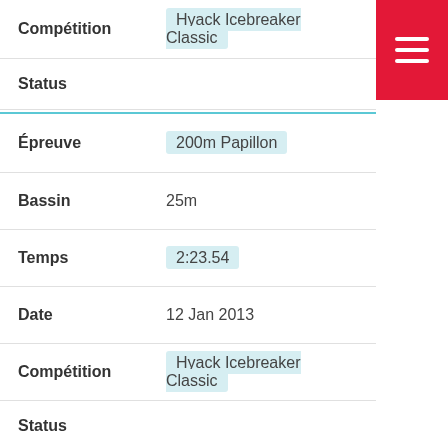Compétition: Hyack Icebreaker Classic
Status
Épreuve: 200m Papillon
Bassin: 25m
Temps: 2:23.54
Date: 12 Jan 2013
Compétition: Hyack Icebreaker Classic
Status
Épreuve: 200m Dos